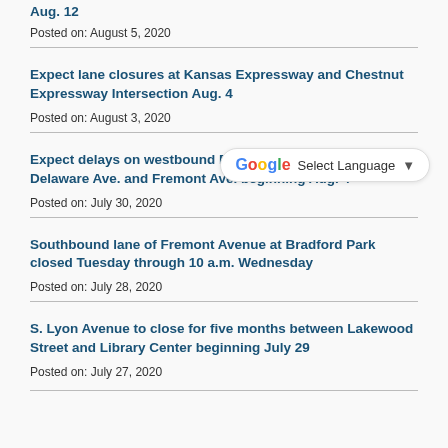Aug. 12
Posted on: August 5, 2020
Expect lane closures at Kansas Expressway and Chestnut Expressway Intersection Aug. 4
Posted on: August 3, 2020
Expect delays on westbound Battlefield Road between Delaware Ave. and Fremont Ave. beginning Aug. 4
Posted on: July 30, 2020
Southbound lane of Fremont Avenue at Bradford Park closed Tuesday through 10 a.m. Wednesday
Posted on: July 28, 2020
S. Lyon Avenue to close for five months between Lakewood Street and Library Center beginning July 29
Posted on: July 27, 2020